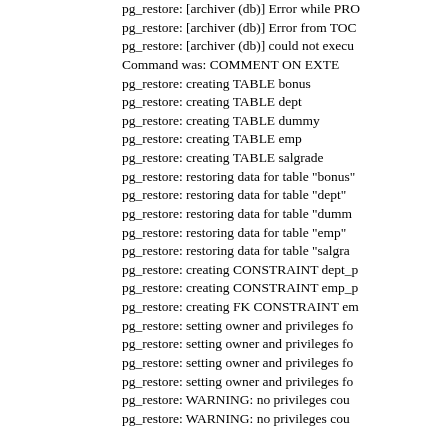pg_restore: [archiver (db)] Error while PRO
pg_restore: [archiver (db)] Error from TOC
pg_restore: [archiver (db)] could not execu
    Command was: COMMENT ON EXTE
pg_restore: creating TABLE bonus
pg_restore: creating TABLE dept
pg_restore: creating TABLE dummy
pg_restore: creating TABLE emp
pg_restore: creating TABLE salgrade
pg_restore: restoring data for table "bonus"
pg_restore: restoring data for table "dept"
pg_restore: restoring data for table "dummy
pg_restore: restoring data for table "emp"
pg_restore: restoring data for table "salgra
pg_restore: creating CONSTRAINT dept_p
pg_restore: creating CONSTRAINT emp_p
pg_restore: creating FK CONSTRAINT em
pg_restore: setting owner and privileges fo
pg_restore: setting owner and privileges fo
pg_restore: setting owner and privileges fo
pg_restore: setting owner and privileges fo
pg_restore: WARNING:  no privileges cou
pg_restore: WARNING:  no privileges cou